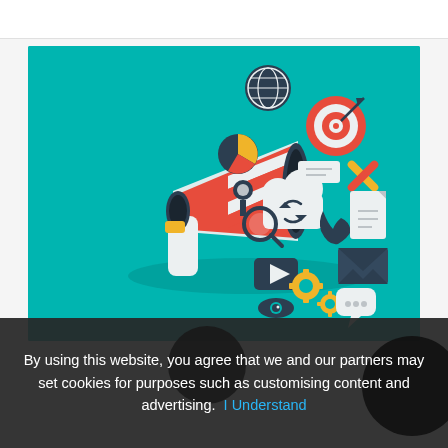[Figure (illustration): Marketing/digital advertising illustration on teal background: a large megaphone/loudspeaker on the left emitting icons representing digital marketing elements including a globe, target/dartboard, cloud with sync arrows, tools, magnifying glass, phone, email envelope, video play button, gears, pie chart, speech bubble with dots, and a document.]
By using this website, you agree that we and our partners may set cookies for purposes such as customising content and advertising.  I Understand